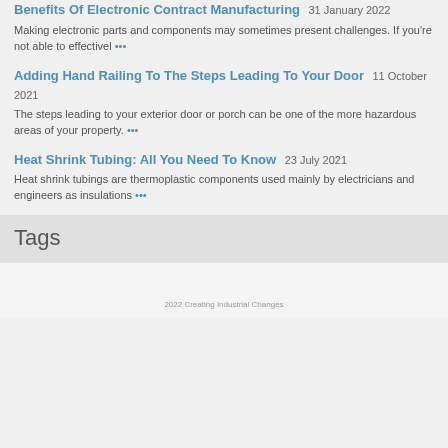Benefits Of Electronic Contract Manufacturing 31 January 2022
Making electronic parts and components may sometimes present challenges. If you're not able to effectivel ...
Adding Hand Railing To The Steps Leading To Your Door 11 October 2021
The steps leading to your exterior door or porch can be one of the more hazardous areas of your property. ...
Heat Shrink Tubing: All You Need To Know 23 July 2021
Heat shrink tubings are thermoplastic components used mainly by electricians and engineers as insulations ...
Tags
2022 Creating Industrial Changes